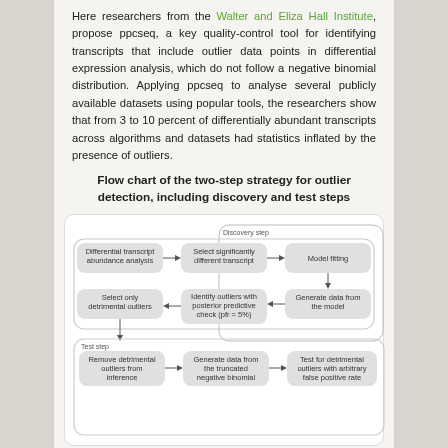Here researchers from the Walter and Eliza Hall Institute, propose ppcseq, a key quality-control tool for identifying transcripts that include outlier data points in differential expression analysis, which do not follow a negative binomial distribution. Applying ppcseq to analyse several publicly available datasets using popular tools, the researchers show that from 3 to 10 percent of differentially abundant transcripts across algorithms and datasets had statistics inflated by the presence of outliers.
Flow chart of the two-step strategy for outlier detection, including discovery and test steps
[Figure (flowchart): A two-step flowchart for outlier detection. Discovery step: Differential transcript abundance analysis -> Select significantly different transcript -> Model fitting -> Generate data from the model -> Identify outliers with posterior predictive check (pfr = 5%) -> Select only detrimental outliers. Test step: Remove detrimental outliers from inference -> Generate data from the truncated negative binomial -> Test for detrimental outliers with arbitrary false positive rate.]